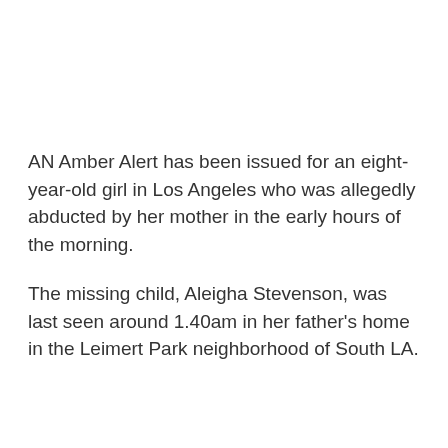AN Amber Alert has been issued for an eight-year-old girl in Los Angeles who was allegedly abducted by her mother in the early hours of the morning.
The missing child, Aleigha Stevenson, was last seen around 1.40am in her father's home in the Leimert Park neighborhood of South LA.